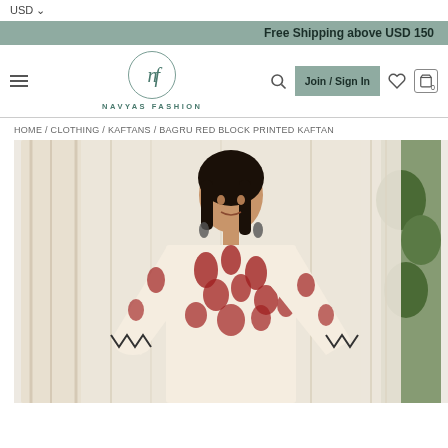USD
Free Shipping above USD 150
[Figure (logo): Navyas Fashion logo with stylized 'nf' in circle and text NAVYAS FASHION below]
Join / Sign In
HOME / CLOTHING / KAFTANS / BAGRU RED BLOCK PRINTED KAFTAN
[Figure (photo): Woman wearing a red and cream Bagru block printed kaftan with wide sleeves and zigzag border, standing in front of cream curtains with greenery in background]